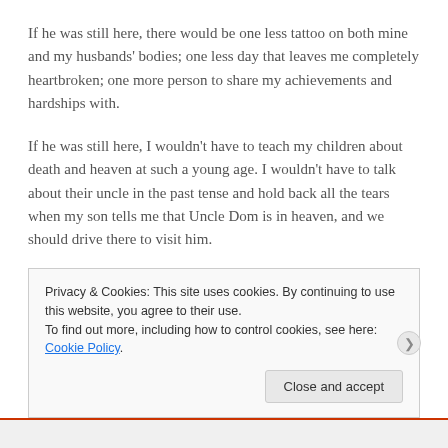If he was still here, there would be one less tattoo on both mine and my husbands' bodies; one less day that leaves me completely heartbroken; one more person to share my achievements and hardships with.
If he was still here, I wouldn't have to teach my children about death and heaven at such a young age. I wouldn't have to talk about their uncle in the past tense and hold back all the tears when my son tells me that Uncle Dom is in heaven, and we should drive there to visit him.
Every day, past and present, something happens that
Privacy & Cookies: This site uses cookies. By continuing to use this website, you agree to their use.
To find out more, including how to control cookies, see here: Cookie Policy